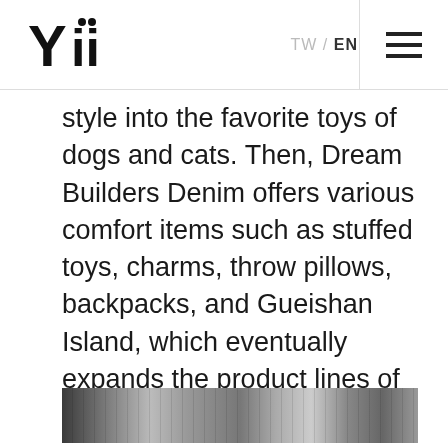Yii TW / EN
style into the favorite toys of dogs and cats. Then, Dream Builders Denim offers various comfort items such as stuffed toys, charms, throw pillows, backpacks, and Gueishan Island, which eventually expands the product lines of “Dream Builders Denim”.
[Figure (photo): Partial view of a photograph showing what appears to be a workshop or retail space interior, cropped at the bottom of the page.]